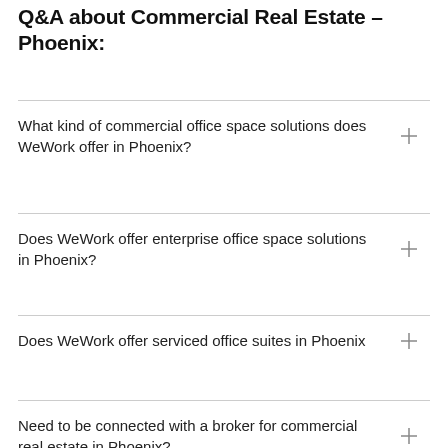Q&A about Commercial Real Estate – Phoenix:
What kind of commercial office space solutions does WeWork offer in Phoenix?
Does WeWork offer enterprise office space solutions in Phoenix?
Does WeWork offer serviced office suites in Phoenix
Need to be connected with a broker for commercial real estate in Phoenix?